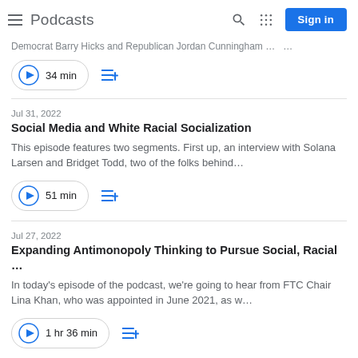Podcasts
Democrat Barry Hicks and Republican Jordan Cunningham …
34 min
Jul 31, 2022
Social Media and White Racial Socialization
This episode features two segments. First up, an interview with Solana Larsen and Bridget Todd, two of the folks behind…
51 min
Jul 27, 2022
Expanding Antimonopoly Thinking to Pursue Social, Racial …
In today's episode of the podcast, we're going to hear from FTC Chair Lina Khan, who was appointed in June 2021, as w…
1 hr 36 min